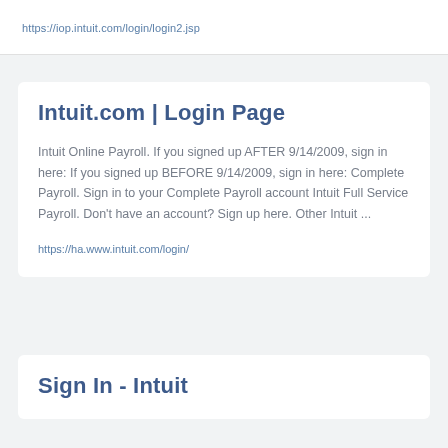https://iop.intuit.com/login/login2.jsp
Intuit.com | Login Page
Intuit Online Payroll. If you signed up AFTER 9/14/2009, sign in here: If you signed up BEFORE 9/14/2009, sign in here: Complete Payroll. Sign in to your Complete Payroll account Intuit Full Service Payroll. Don't have an account? Sign up here. Other Intuit ...
https://ha.www.intuit.com/login/
Sign In - Intuit